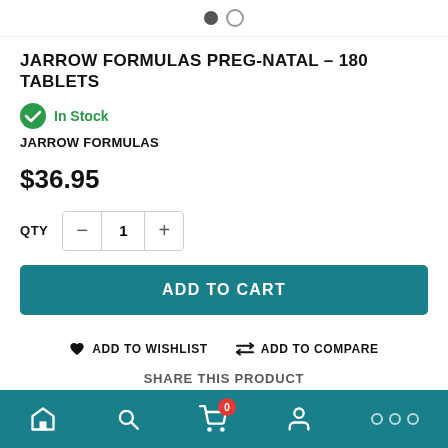[Figure (other): Product image carousel dots indicator showing two dots, first filled (active), second empty]
JARROW FORMULAS PREG-NATAL – 180 TABLETS
In Stock
JARROW FORMULAS
$36.95
QTY  −  1  +
ADD TO CART
ADD TO WISHLIST   ADD TO COMPARE
SHARE THIS PRODUCT
Home  Search  Cart (0)  Account  More